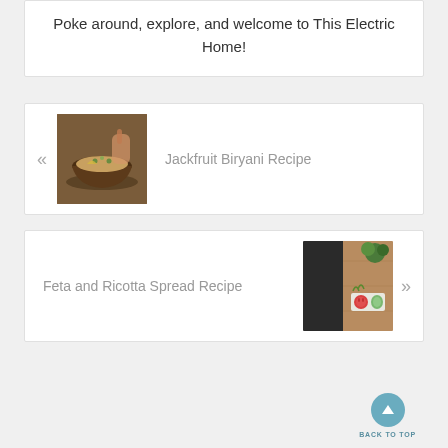Poke around, explore, and welcome to This Electric Home!
[Figure (photo): Photo of a bowl of jackfruit biryani with garnish, held in hands over a dark plate]
Jackfruit Biryani Recipe
[Figure (photo): Overhead photo of feta and ricotta spread with vegetables on a wooden board]
Feta and Ricotta Spread Recipe
BACK TO TOP